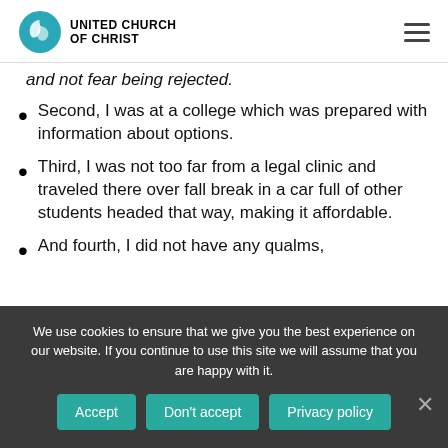United Church of Christ
and not fear being rejected.
Second, I was at a college which was prepared with information about options.
Third, I was not too far from a legal clinic and traveled there over fall break in a car full of other students headed that way, making it affordable.
And fourth, I did not have any qualms,
We use cookies to ensure that we give you the best experience on our website. If you continue to use this site we will assume that you are happy with it.